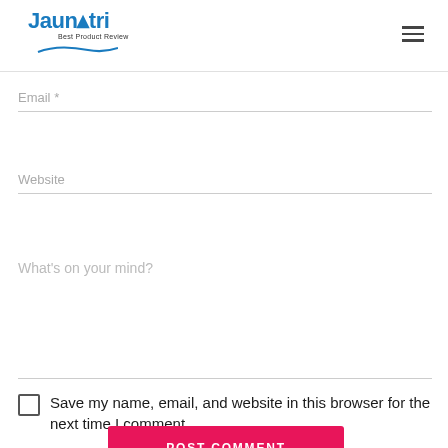[Figure (logo): Jaunatri Best Product Review logo with blue stylized text and swoosh]
Email *
Website
What's on your mind?
Save my name, email, and website in this browser for the next time I comment.
POST COMMENT